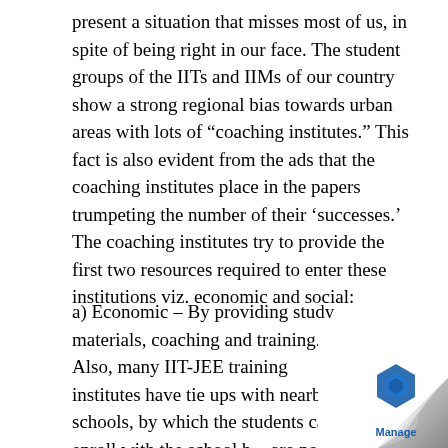present a situation that misses most of us, in spite of being right in our face. The student groups of the IITs and IIMs of our country show a strong regional bias towards urban areas with lots of “coaching institutes.” This fact is also evident from the ads that the coaching institutes place in the papers trumpeting the number of their ‘successes.’ The coaching institutes try to provide the first two resources required to enter these institutions viz. economic and social:
a) Economic – By providing study materials, coaching and training. Also, many IIT-JEE training institutes have tie ups with nearby schools, by which the students can enroll with the school but are not required to attend classes, as the school knows that these students are bound to do well in the +2 exams. This takes care of the ‘freedom to work’ point.
[Figure (logo): Page curl effect in bottom-right corner with a blue hexagonal logo and the text 'Manage' below it]